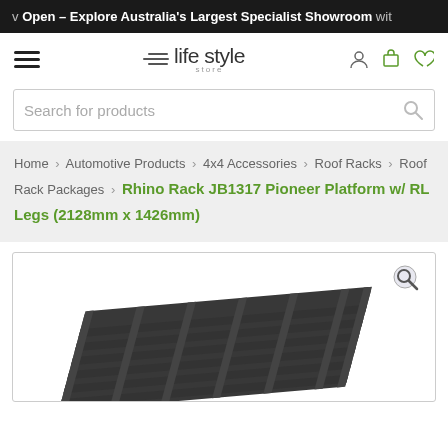Now Open – Explore Australia's Largest Specialist Showroom with
[Figure (logo): Life Style Store logo with hamburger menu and navigation icons (user, cart, wishlist)]
Search for products
Home > Automotive Products > 4x4 Accessories > Roof Racks > Roof Rack Packages > Rhino Rack JB1317 Pioneer Platform w/ RL Legs (2128mm x 1426mm)
[Figure (photo): Product photo of Rhino Rack JB1317 Pioneer Platform roof rack with RL Legs, shown from an angled top-down perspective, with a zoom/magnify icon in upper right corner]